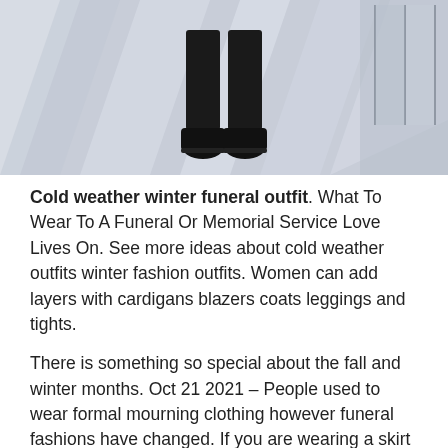[Figure (photo): A person dressed in all black (legs and boots visible) standing on a light-colored pavement with diagonal light/shadow stripes, near a building entrance with glass doors.]
Cold weather winter funeral outfit. What To Wear To A Funeral Or Memorial Service Love Lives On. See more ideas about cold weather outfits winter fashion outfits. Women can add layers with cardigans blazers coats leggings and tights.
There is something so special about the fall and winter months. Oct 21 2021 – People used to wear formal mourning clothing however funeral fashions have changed. If you are wearing a skirt or dress to a funeral you have alittle bit more to.